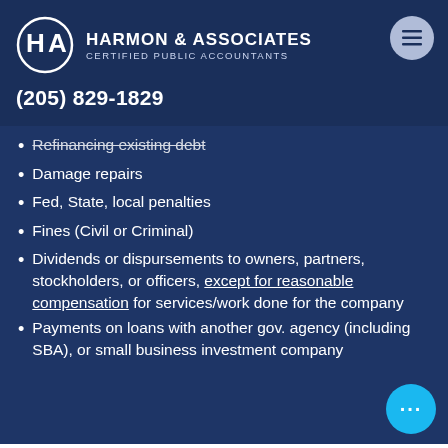HARMON & ASSOCIATES CERTIFIED PUBLIC ACCOUNTANTS (205) 829-1829
Refinancing existing debt
Damage repairs
Fed, State, local penalties
Fines (Civil or Criminal)
Dividends or dispursements to owners, partners, stockholders, or officers, except for reasonable compensation for services/work done for the company
Payments on loans with another gov. agency (including SBA), or small business investment company